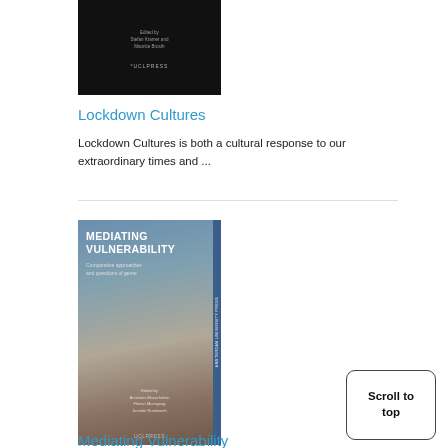[Figure (photo): Book cover of 'Lockdown Cultures' — dark background with blurred circular shapes, edited by Stefan Kramer and Maurice Brosth, UCL Press]
Lockdown Cultures
Lockdown Cultures is both a cultural response to our extraordinary times and ...
[Figure (photo): Book cover of 'Mediating Vulnerability: Comparative approaches and questions of genre' — edited by Anneloes Masschelein, Florian Mussgnug, Jennifer Rushworth, UCL Press. Cover features a figure in muted blue-grey tones.]
Mediating Vulnerability